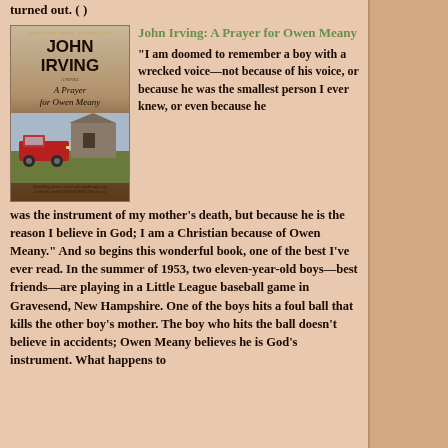turned out. (  )
[Figure (illustration): Book cover of 'A Prayer for Owen Meany' by John Irving. New York Times Bestseller. Shows a red vintage truck near a barn.]
John Irving: A Prayer for Owen Meany
"I am doomed to remember a boy with a wrecked voice—not because of his voice, or because he was the smallest person I ever knew, or even because he was the instrument of my mother's death, but because he is the reason I believe in God; I am a Christian because of Owen Meany." And so begins this wonderful book, one of the best I've ever read. In the summer of 1953, two eleven-year-old boys—best friends—are playing in a Little League baseball game in Gravesend, New Hampshire. One of the boys hits a foul ball that kills the other boy's mother. The boy who hits the ball doesn't believe in accidents; Owen Meany believes he is God's instrument. What happens to